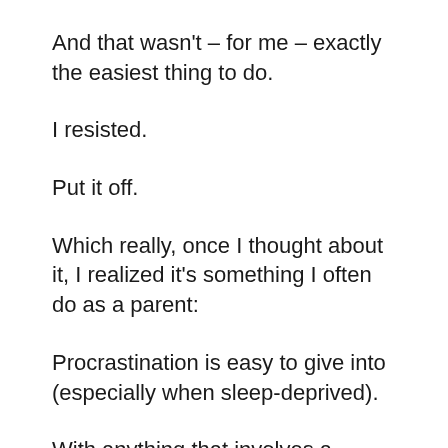And that wasn't – for me – exactly the easiest thing to do.
I resisted.
Put it off.
Which really, once I thought about it, I realized it's something I often do as a parent:
Procrastination is easy to give into (especially when sleep-deprived).
With anything that involves a transition.